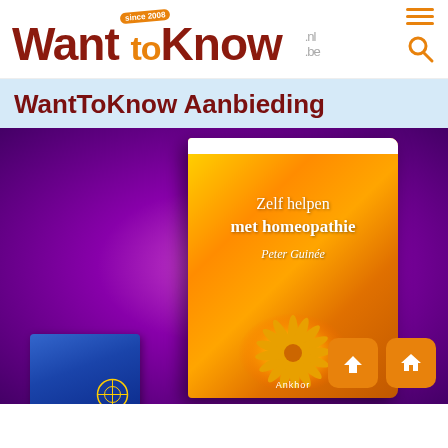[Figure (logo): WantToKnow.nl.be logo with 'since 2008' badge, orange and dark red text, with hamburger menu and search icon]
WantToKnow Aanbieding
[Figure (photo): Book cover 'Zelf helpen met homeopathie' by Peter Guinée, orange cover with sunflower, on purple textured background, with a blue book partially visible at bottom left. Two orange navigation buttons (up and home) in bottom right corner.]